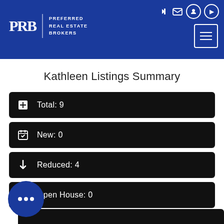Preferred Real Estate Brokers — PRB logo and navigation header
Kathleen Listings Summary
Total: 9
New: 0
Reduced: 4
Open House: 0